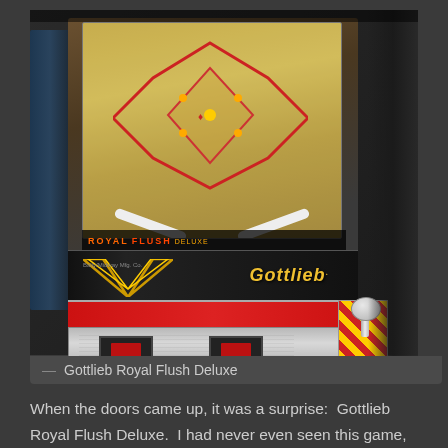[Figure (photo): Photograph of a Gottlieb Royal Flush Deluxe pinball machine, viewed from the front at an angle. The playfield is visible under glass with colorful graphics including star/diamond patterns in red and yellow. The Gottlieb logo appears on the apron in yellow italic text. The cabinet has a red band, silver chrome bottom panel with two red score displays, and a plunger on the right side with yellow and red diagonal striping.]
— Gottlieb Royal Flush Deluxe
When the doors came up, it was a surprise:  Gottlieb Royal Flush Deluxe.  I had never even seen this game,